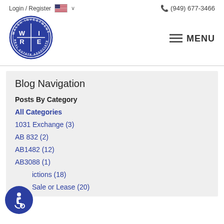Login / Register  (949) 677-3466
[Figure (logo): Walsh Investment Real Estate Associates circular logo (WIRE) in dark blue]
Blog Navigation
Posts By Category
All Categories
1031 Exchange (3)
AB 832 (2)
AB1482 (12)
AB3088 (1)
ictions (18)
Sale or Lease (20)
[Figure (logo): Accessibility icon (wheelchair user) in a blue circle, bottom left]